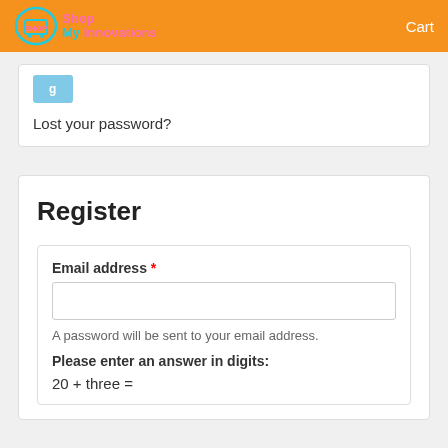My Innovations — Cart
[Figure (logo): Shop My Innovations logo with shopping cart icon]
Lost your password?
Register
Email address *
A password will be sent to your email address.
Please enter an answer in digits:
20 + three =